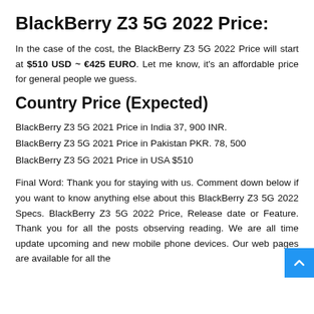BlackBerry Z3 5G 2022 Price:
In the case of the cost, the BlackBerry Z3 5G 2022 Price will start at $510 USD ~ €425 EURO. Let me know, it's an affordable price for general people we guess.
Country Price (Expected)
BlackBerry Z3 5G 2021 Price in India 37, 900 INR.
BlackBerry Z3 5G 2021 Price in Pakistan PKR. 78, 500
BlackBerry Z3 5G 2021 Price in USA $510
Final Word: Thank you for staying with us. Comment down below if you want to know anything else about this BlackBerry Z3 5G 2022 Specs. BlackBerry Z3 5G 2022 Price, Release date or Feature. Thank you for all the posts observing reading. We are all time update upcoming and new mobile phone devices. Our web pages are available for all the